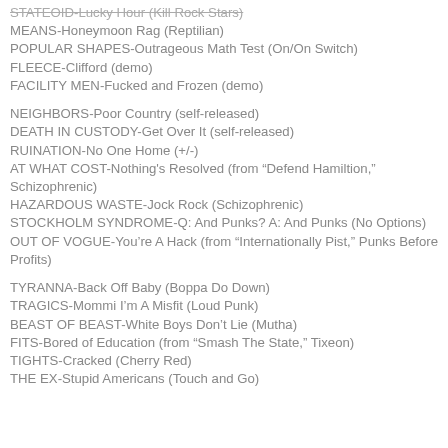MEANS-Honeymoon Rag (Reptilian)
POPULAR SHAPES-Outrageous Math Test (On/On Switch)
FLEECE-Clifford (demo)
FACILITY MEN-Fucked and Frozen (demo)
NEIGHBORS-Poor Country (self-released)
DEATH IN CUSTODY-Get Over It (self-released)
RUINATION-No One Home (+/-)
AT WHAT COST-Nothing's Resolved (from “Defend Hamiltion,” Schizophrenic)
HAZARDOUS WASTE-Jock Rock (Schizophrenic)
STOCKHOLM SYNDROME-Q: And Punks? A: And Punks (No Options)
OUT OF VOGUE-You’re A Hack (from “Internationally Pist,” Punks Before Profits)
TYRANNA-Back Off Baby (Boppa Do Down)
TRAGICS-Mommi I’m A Misfit (Loud Punk)
BEAST OF BEAST-White Boys Don’t Lie (Mutha)
FITS-Bored of Education (from “Smash The State,” Tixeon)
TIGHTS-Cracked (Cherry Red)
THE EX-Stupid Americans (Touch and Go)